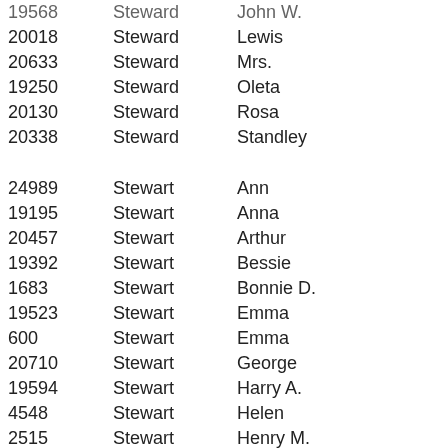| ID | Last Name | First Name |  |
| --- | --- | --- | --- |
| 19568 | Steward | John W. |  |
| 20018 | Steward | Lewis |  |
| 20633 | Steward | Mrs. |  |
| 19250 | Steward | Oleta |  |
| 20130 | Steward | Rosa |  |
| 20338 | Steward | Standley |  |
|  |  |  |  |
| 24989 | Stewart | Ann |  |
| 19195 | Stewart | Anna |  |
| 20457 | Stewart | Arthur |  |
| 19392 | Stewart | Bessie |  |
| 1683 | Stewart | Bonnie D. |  |
| 19523 | Stewart | Emma |  |
| 600 | Stewart | Emma |  |
| 20710 | Stewart | George |  |
| 19594 | Stewart | Harry A. |  |
| 4548 | Stewart | Helen |  |
| 2515 | Stewart | Henry M. |  |
| 19483 | Stewart | Inf of Stanley |  |
| 19890 | Stewart | James H. |  |
| 19400 | Stewart | John F. |  |
| 19427 | Stewart | John Franklin |  |
| 20453 | Stewart | John W. |  |